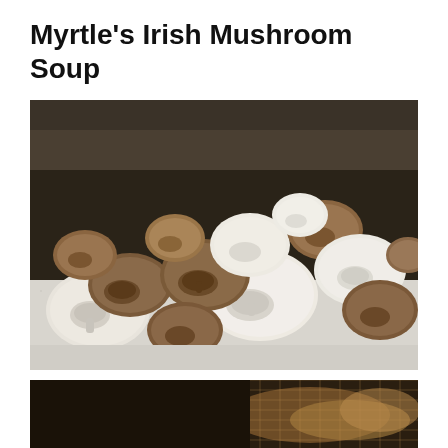Myrtle's Irish Mushroom Soup
[Figure (photo): A top-down photograph of a large pile of mixed mushrooms — both white button mushrooms and brown cremini/chestnut mushrooms — spread out on a white textured surface with a dark background visible at the top.]
[Figure (photo): Partial bottom photograph showing a dark, warm-toned scene, likely mushrooms being cooked or a related food preparation scene.]